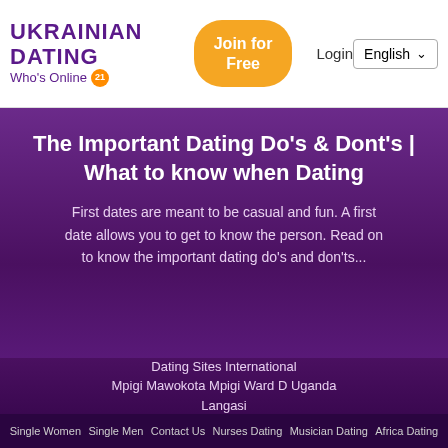UKRAINIAN DATING | Who's Online [21] | Join for Free | Login | English
The Important Dating Do's & Dont's | What to know when Dating
First dates are meant to be casual and fun. A first date allows you to get to know the person. Read on to know the important dating do's and don'ts...
Dating Sites International
Mpigi Mawokota Mpigi Ward D Uganda
Langasi
Single Women   Single Men   Contact Us   Nurses Dating   Musician Dating   Africa Dating